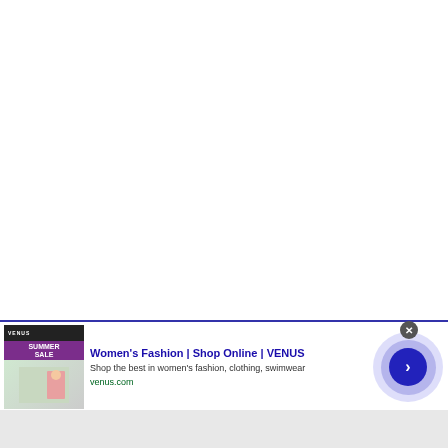[Figure (screenshot): White empty area taking up majority of the page]
[Figure (screenshot): Web advertisement banner for VENUS women's fashion. Contains a thumbnail image showing VENUS website with a Summer Sale banner and a woman in pink clothing. Ad title: Women's Fashion | Shop Online | VENUS. Description: Shop the best in women's fashion, clothing, swimwear. URL: venus.com. Right side has a blue circle with chevron arrow. Close button (X) in gray circle top right of ad. Small ad indicator icon top right corner.]